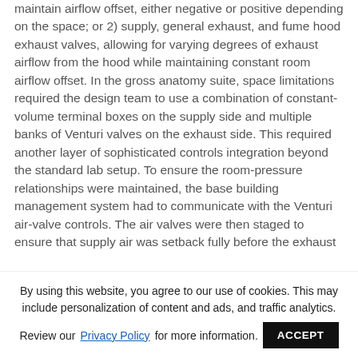maintain airflow offset, either negative or positive depending on the space; or 2) supply, general exhaust, and fume hood exhaust valves, allowing for varying degrees of exhaust airflow from the hood while maintaining constant room airflow offset. In the gross anatomy suite, space limitations required the design team to use a combination of constant-volume terminal boxes on the supply side and multiple banks of Venturi valves on the exhaust side. This required another layer of sophisticated controls integration beyond the standard lab setup. To ensure the room-pressure relationships were maintained, the base building management system had to communicate with the Venturi air-valve controls. The air valves were then staged to ensure that supply air was setback fully before the exhaust
By using this website, you agree to our use of cookies. This may include personalization of content and ads, and traffic analytics. Review our Privacy Policy for more information. ACCEPT